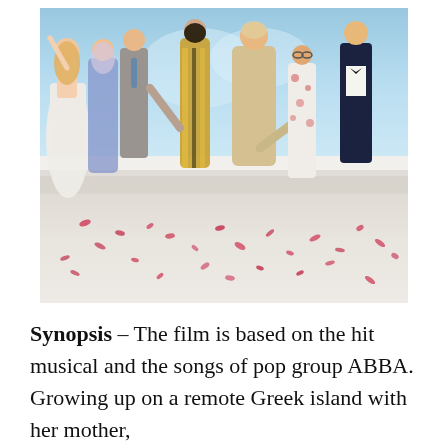[Figure (photo): Promotional photo from the Mamma Mia film showing a group of eight actors in colorful costumes dancing and posing joyfully on a white terrace with a blue sky and sea in the background, with pink rose petals scattered on the ground.]
Synopsis – The film is based on the hit musical and the songs of pop group ABBA. Growing up on a remote Greek island with her mother,